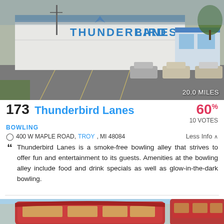[Figure (photo): Exterior photo of Thunderbird Lanes bowling alley building with blue sign, parking lot in foreground. Distance badge shows 20.0 MILES.]
173 Thunderbird Lanes
60% 10 VOTES
BOWLING
400 W MAPLE ROAD, TROY, MI 48084   Less Info
Thunderbird Lanes is a smoke-free bowling alley that strives to offer fun and entertainment to its guests. Amenities at the bowling alley include food and drink specials as well as glow-in-the-dark bowling.
[Figure (photo): Exterior photo of a large building with red curved facade and signage reading 'R GRAND', likely a bowling or entertainment venue.]